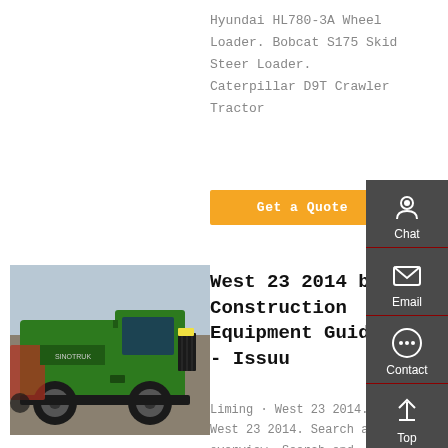Hyundai HL780-3A Wheel Loader. Bobcat S175 Skid Steer Loader. Caterpillar D9T Crawler Tractor
Get a Quote
[Figure (photo): Green heavy-duty truck (SINOTRUK) parked in a lot with other construction vehicles and equipment in the background]
West 23 2014 by Construction Equipment Guide - Issuu
Liming · West 23 2014. West 23 2014. Search and overview. Search and